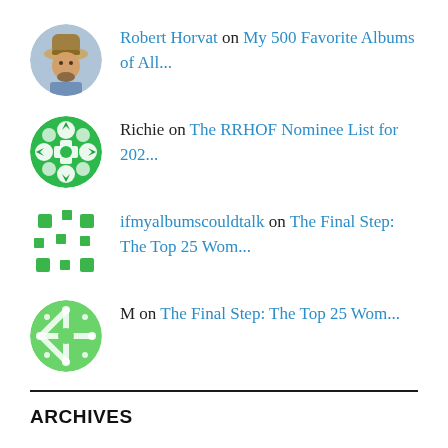Robert Horvat on My 500 Favorite Albums of All...
Richie on The RRHOF Nominee List for 202...
ifmyalbumscouldtalk on The Final Step: The Top 25 Wom...
M on The Final Step: The Top 25 Wom...
ARCHIVES
August 2022